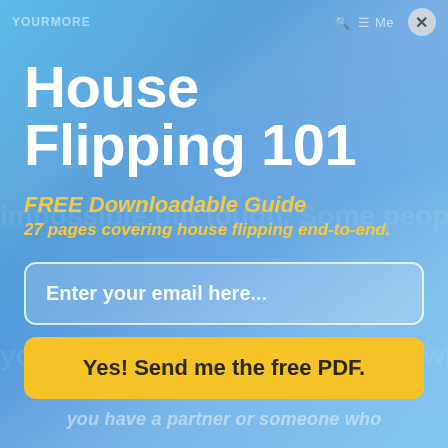YOURMORE   Menu ×
House Flipping 101
FREE Downloadable Guide
27 pages covering house flipping end-to-end.
Enter your email here...
Yes! Send me the free PDF.
you have a partner or someone who